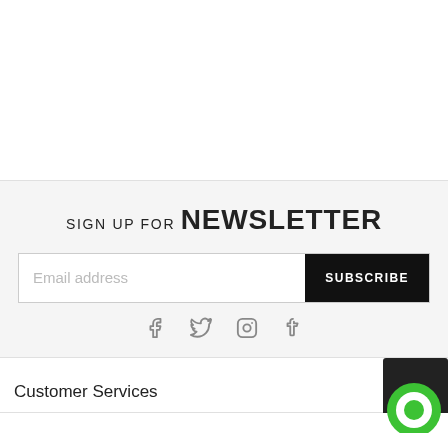SIGN UP FOR NEWSLETTER
Email address
SUBSCRIBE
[Figure (infographic): Social media icons: Facebook, Twitter, Instagram, Tumblr]
Customer Services
[Figure (illustration): Chat bubble icon, green circle with white ring, on dark background corner]